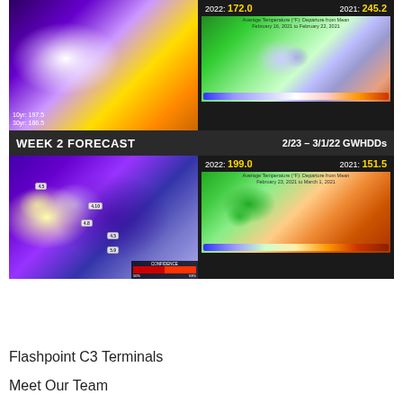[Figure (map): Weather forecast maps composite showing Week 2 Forecast GWHDDs for 2/23-3/1/22 and prior week. Top-left: US temperature departure map (purple/gold). Top-right: GWHDD values 2022:172.0, 2021:245.2 with average temperature departure map Feb 16-22 2021. Bottom: Week 2 Forecast 2/23-3/1/22 GWHDDs, 2022:199.0, 2021:151.5, with week 2 temp departure map and Feb 23 - Mar 1 2021 avg temp departure map.]
Flashpoint C3 Terminals
Meet Our Team